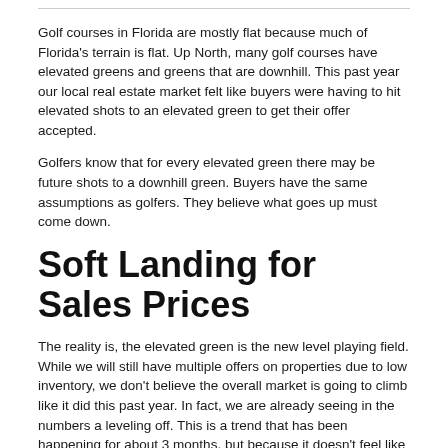Golf courses in Florida are mostly flat because much of Florida's terrain is flat. Up North, many golf courses have elevated greens and greens that are downhill.  This past year our local real estate market felt like buyers were having to hit elevated shots to an elevated green to get their offer accepted.
Golfers know that for every elevated green there may be future shots to a downhill green.  Buyers have the same assumptions as golfers.  They believe what goes up must come down.
Soft Landing for Sales Prices
The reality is, the elevated green is the new level playing field.  While we will still have multiple offers on properties due to low inventory, we don't believe the overall market is going to climb like it did this past year.  In fact, we are already seeing in the numbers a leveling off.  This is a trend that has been happening for about 3 months, but because it doesn't feel like a flattening market, sellers and agents have not recognized it.
If you speak with us about your property, they will tell you the...